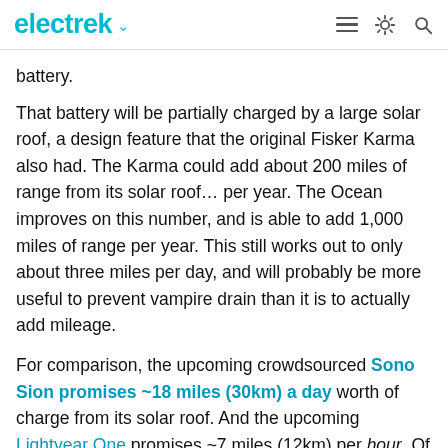electrek
battery.
That battery will be partially charged by a large solar roof, a design feature that the original Fisker Karma also had. The Karma could add about 200 miles of range from its solar roof… per year. The Ocean improves on this number, and is able to add 1,000 miles of range per year. This still works out to only about three miles per day, and will probably be more useful to prevent vampire drain than it is to actually add mileage.
For comparison, the upcoming crowdsourced Sono Sion promises ~18 miles (30km) a day worth of charge from its solar roof. And the upcoming Lightyear One promises ~7 miles (12km) per hour. Of course, none of these cars are out yet, so we'll see how they fare when — or if — they hit the market.
Notably, Fisker shared the inspiration for the name of the